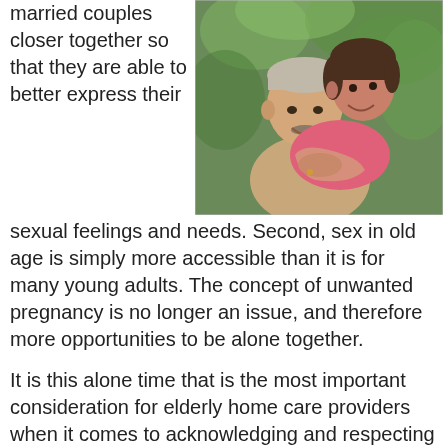married couples closer together so that they are able to better express their
[Figure (photo): Elderly couple embracing and smiling outdoors, woman in pink top hugging man from behind]
sexual feelings and needs. Second, sex in old age is simply more accessible than it is for many young adults. The concept of unwanted pregnancy is no longer an issue, and therefore more opportunities to be alone together.
It is this alone time that is the most important consideration for elderly home care providers when it comes to acknowledging and respecting seniors and sexuality. Simply because you are providing elder care for your aging loved ones is not mean that you do not need to continue respecting their privacy and personal space, particularly in terms of couples who wish to